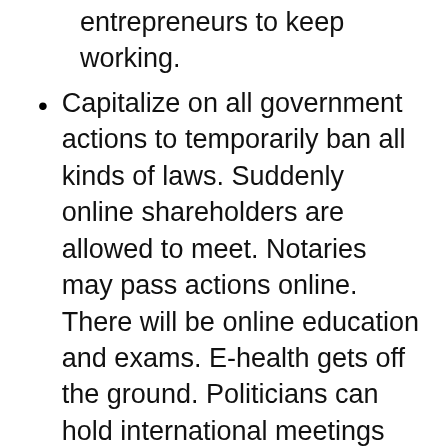entrepreneurs to keep working.
Capitalize on all government actions to temporarily ban all kinds of laws. Suddenly online shareholders are allowed to meet. Notaries may pass actions online. There will be online education and exams. E-health gets off the ground. Politicians can hold international meetings online.
Share this: